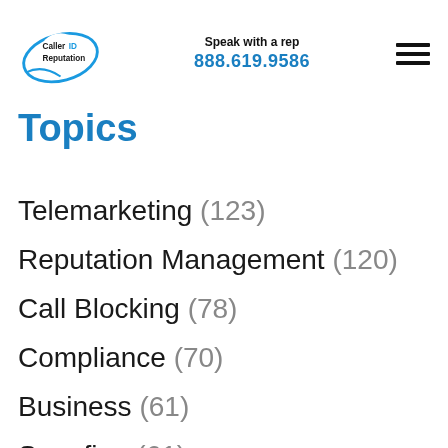CallerID Reputation | Speak with a rep 888.619.9586
Topics
Telemarketing (123)
Reputation Management (120)
Call Blocking (78)
Compliance (70)
Business (61)
Spoofing (61)
Branding (49)
Sales (39)